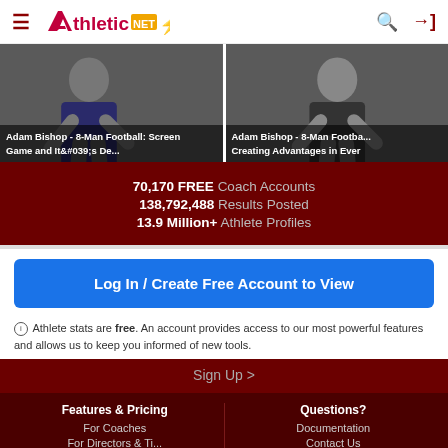AthleticNET+ (logo) with hamburger menu, search, and login icons
[Figure (screenshot): Two video thumbnails side by side showing a coach (Adam Bishop) presenting. Left: 'Adam Bishop - 8-Man Football: Screen Game and It&#039;s De...'. Right: 'Adam Bishop - 8-Man Footba... Creating Advantages in Ever'.]
70,170 FREE Coach Accounts
138,792,488 Results Posted
13.9 Million+ Athlete Profiles
Log In / Create Free Account to View
ⓘ Athlete stats are free. An account provides access to our most powerful features and allows us to keep you informed of new tools.
Sign Up >
Features & Pricing
Questions?
For Coaches
Documentation